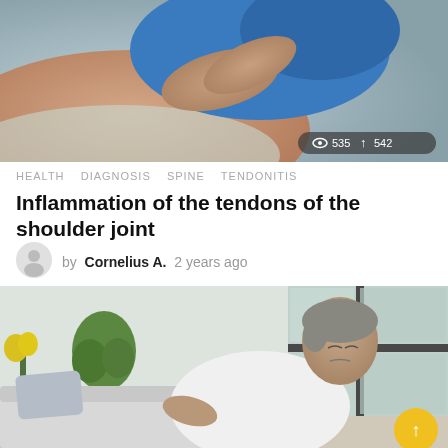[Figure (photo): Close-up photo of a person's shoulder being treated with a blue towel/compress, skin tones visible]
HEALTH   DIAGNOSIS   SPINE   TENDONITIS
Inflammation of the tendons of the shoulder joint
by Cornelius A. 2 years ago
[Figure (photo): Middle-aged man in white t-shirt sitting and wincing in pain, holding his lower back, indoor room setting with couch and window]